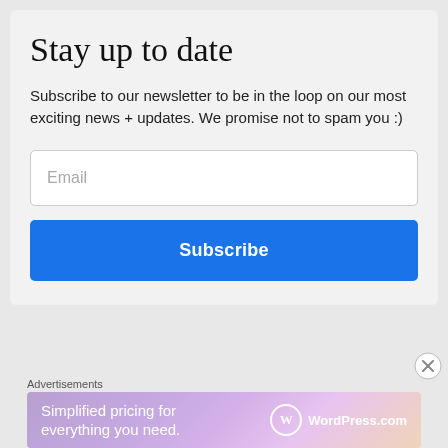Stay up to date
Subscribe to our newsletter to be in the loop on our most exciting news + updates. We promise not to spam you :)
Email
Subscribe
Advertisements
[Figure (other): WordPress.com advertisement banner: 'Simplified pricing for everything you need.' with WordPress.com logo on gradient purple-pink background]